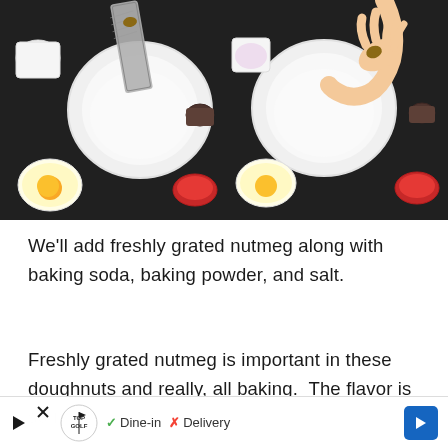[Figure (photo): Two side-by-side top-down photos of baking ingredients on a dark surface. Left photo shows a white mixing bowl with a grater over it, surrounded by eggs, milk, and other ingredients. Right photo shows a hand holding something over the same bowl setup with similar ingredients visible.]
We'll add freshly grated nutmeg along with baking soda, baking powder, and salt.
Freshly grated nutmeg is important in these doughnuts and really, all baking.  The flavor is so m                                                         e-
▶ TOPGOLF  ✓ Dine-in  ✗ Delivery  ➡